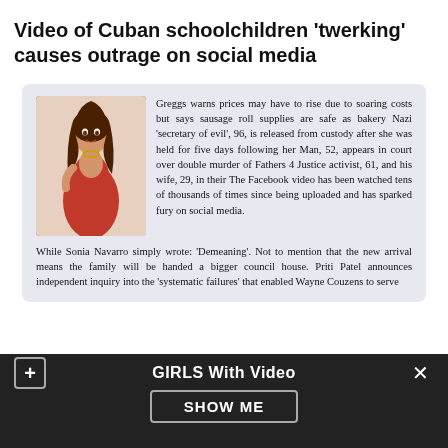Video of Cuban schoolchildren 'twerking' causes outrage on social media
Greggs warns prices may have to rise due to soaring costs but says sausage roll supplies are safe as bakery Nazi 'secretary of evil', 96, is released from custody after she was held for five days following her Man, 52, appears in court over double murder of Fathers 4 Justice activist, 61, and his wife, 29, in their The Facebook video has been watched tens of thousands of times since being uploaded and has sparked fury on social media. While Sonia Navarro simply wrote: 'Demeaning'. Not to mention that the new arrival means the family will be handed a bigger council house. Priti Patel announces independent inquiry into the 'systematic failures' that enabled Wayne Couzens to serve
[Figure (screenshot): Bottom notification bar with dark background showing 'GIRLS With Video' label, plus button, close button, and 'SHOW ME' button]